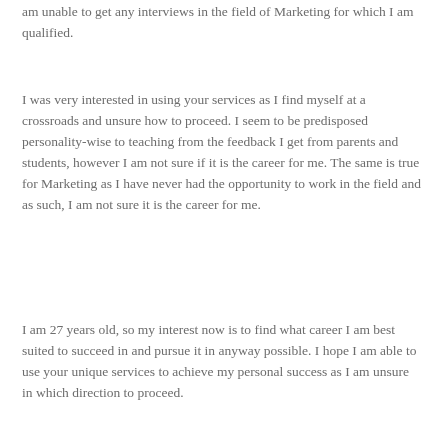am unable to get any interviews in the field of Marketing for which I am qualified.
I was very interested in using your services as I find myself at a crossroads and unsure how to proceed. I seem to be predisposed personality-wise to teaching from the feedback I get from parents and students, however I am not sure if it is the career for me. The same is true for Marketing as I have never had the opportunity to work in the field and as such, I am not sure it is the career for me.
I am 27 years old, so my interest now is to find what career I am best suited to succeed in and pursue it in anyway possible. I hope I am able to use your unique services to achieve my personal success as I am unsure in which direction to proceed.